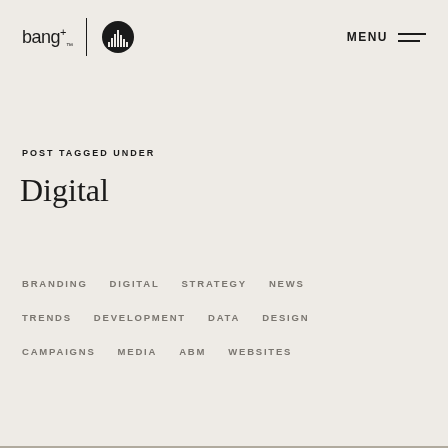[Figure (logo): bang+ logo with vertical divider and circular city skyline icon, plus MENU hamburger icon on right]
POST TAGGED UNDER
Digital
BRANDING   DIGITAL   STRATEGY   NEWS
TRENDS   DEVELOPMENT   DATA   DESIGN
CAMPAIGNS   MEDIA   ABM   WEBSITES